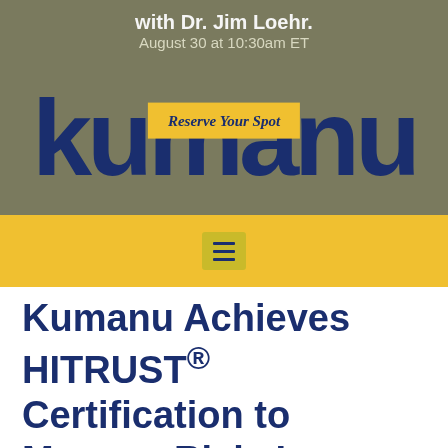with Dr. Jim Loehr. August 30 at 10:30am ET
[Figure (logo): Kumanu logo in large dark blue letters on olive/grey background, with yellow 'Reserve Your Spot' badge overlaid in center]
[Figure (other): Yellow navigation bar with hamburger menu icon]
Kumanu Achieves HITRUST® Certification to Manage Risk, Improve Security...